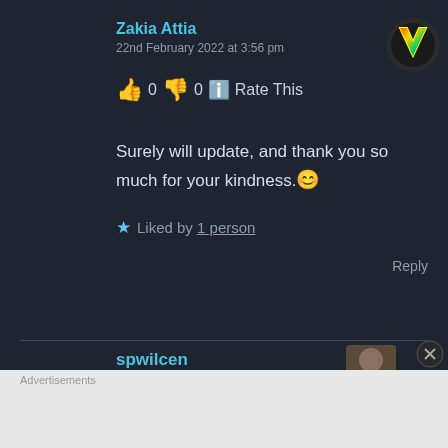Zakia Attia
22nd February 2022 at 3:56 pm
👍 0 👎 0 ℹ️ Rate This
Surely will update, and thank you so much for your kindness.😊
★ Liked by 1 person
Reply
spwilcen
Advertisements
Simplified pricing for everything you need. WordPress.com